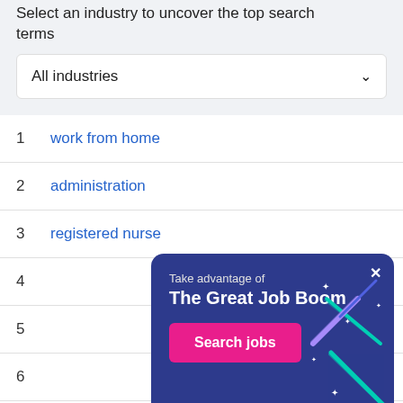Select an industry to uncover the top search terms
All industries
1  work from home
2  administration
3  registered nurse
4
5
6
7  chef
[Figure (infographic): Popup banner with dark blue background, shooting star decorations, text 'Take advantage of The Great Job Boom' and a pink 'Search jobs' button. Has a close (X) button in top right.]